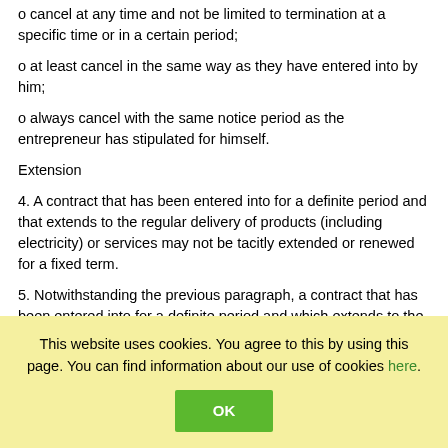o cancel at any time and not be limited to termination at a specific time or in a certain period;
o at least cancel in the same way as they have entered into by him;
o always cancel with the same notice period as the entrepreneur has stipulated for himself.
Extension
4. A contract that has been entered into for a definite period and that extends to the regular delivery of products (including electricity) or services may not be tacitly extended or renewed for a fixed term.
5. Notwithstanding the previous paragraph, a contract that has been entered into for a definite period and which extends to the regular delivery of daily news- and weekly newspapers and magazines may be tacitly renewed for a fixed term of a maximum of three months, if the
This website uses cookies. You agree to this by using this page. You can find information about our use of cookies here.